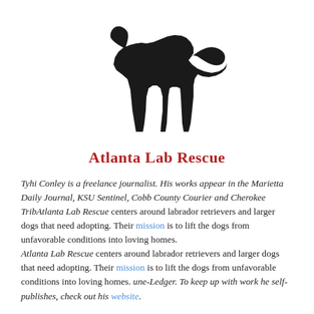[Figure (logo): Black silhouette of a Labrador dog facing right, used as the Atlanta Lab Rescue logo]
Atlanta Lab Rescue
Tyhi Conley is a freelance journalist. His works appear in the Marietta Daily Journal, KSU Sentinel, Cobb County Courier and Cherokee TribAtlanta Lab Rescue centers around labrador retrievers and larger dogs that need adopting. Their mission is to lift the dogs from unfavorable conditions into loving homes. Atlanta Lab Rescue centers around labrador retrievers and larger dogs that need adopting. Their mission is to lift the dogs from unfavorable conditions into loving homes. une-Ledger. To keep up with work he self-publishes, check out his website.